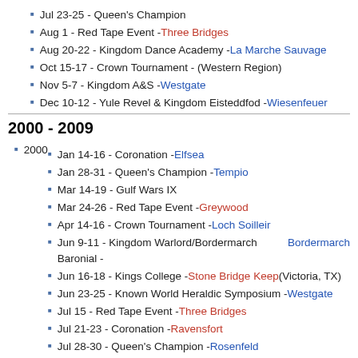Jul 23-25 - Queen's Champion
Aug 1 - Red Tape Event - Three Bridges
Aug 20-22 - Kingdom Dance Academy - La Marche Sauvage
Oct 15-17 - Crown Tournament - (Western Region)
Nov 5-7 - Kingdom A&S - Westgate
Dec 10-12 - Yule Revel & Kingdom Eisteddfod - Wiesenfeuer
2000 - 2009
2000
Jan 14-16 - Coronation - Elfsea
Jan 28-31 - Queen's Champion - Tempio
Mar 14-19 - Gulf Wars IX
Mar 24-26 - Red Tape Event - Greywood
Apr 14-16 - Crown Tournament - Loch Soilleir
Jun 9-11 - Kingdom Warlord/Bordermarch Baronial - Bordermarch
Jun 16-18 - Kings College - Stone Bridge Keep (Victoria, TX)
Jun 23-25 - Known World Heraldic Symposium - Westgate
Jul 15 - Red Tape Event - Three Bridges
Jul 21-23 - Coronation - Ravensfort
Jul 28-30 - Queen's Champion - Rosenfeld
Oct 13-15 - Crown Tournament - Brad Leah
Oct 21 - SCA B.O.D. Meeting - Stargate